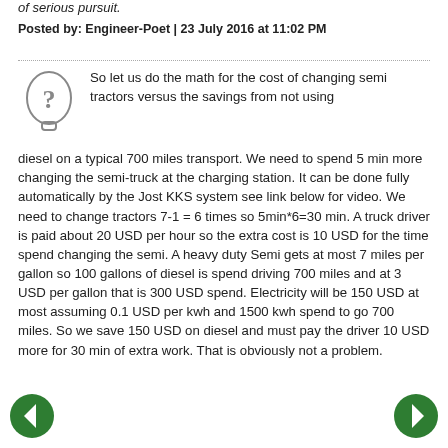of serious pursuit.
Posted by: Engineer-Poet | 23 July 2016 at 11:02 PM
[Figure (illustration): Question mark icon - a stylized head silhouette with a question mark inside]
So let us do the math for the cost of changing semi tractors versus the savings from not using diesel on a typical 700 miles transport. We need to spend 5 min more changing the semi-truck at the charging station. It can be done fully automatically by the Jost KKS system see link below for video. We need to change tractors 7-1 = 6 times so 5min*6=30 min. A truck driver is paid about 20 USD per hour so the extra cost is 10 USD for the time spend changing the semi. A heavy duty Semi gets at most 7 miles per gallon so 100 gallons of diesel is spend driving 700 miles and at 3 USD per gallon that is 300 USD spend. Electricity will be 150 USD at most assuming 0.1 USD per kwh and 1500 kwh spend to go 700 miles. So we save 150 USD on diesel and must pay the driver 10 USD more for 30 min of extra work. That is obviously not a problem.
[Figure (illustration): Left navigation arrow - green circle with white left arrow]
[Figure (illustration): Right navigation arrow - green circle with white right arrow]